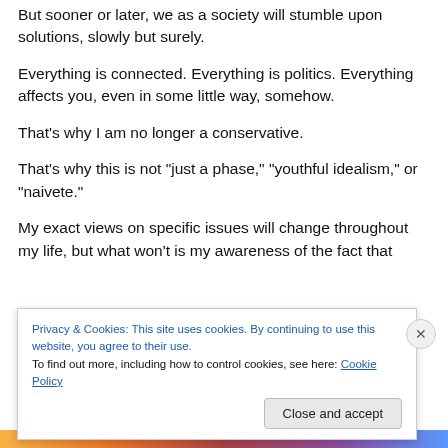But sooner or later, we as a society will stumble upon solutions, slowly but surely.
Everything is connected. Everything is politics. Everything affects you, even in some little way, somehow.
That’s why I am no longer a conservative.
That’s why this is not “just a phase,” “youthful idealism,” or “naivete.”
My exact views on specific issues will change throughout my life, but what won’t is my awareness of the fact that
Privacy & Cookies: This site uses cookies. By continuing to use this website, you agree to their use.
To find out more, including how to control cookies, see here: Cookie Policy
Close and accept